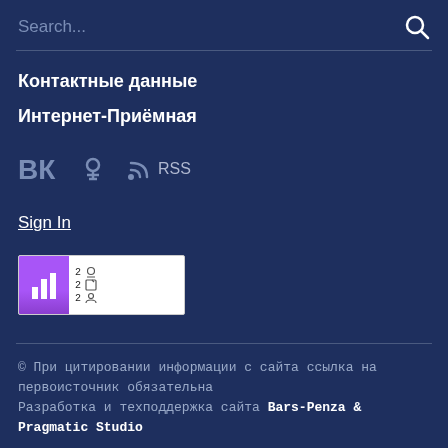Search...
Контактные данные
Интернет-Приёмная
[Figure (logo): Social media icons: VK (ВКонтакте), Odnoklassniki, RSS feed icon with RSS text]
Sign In
[Figure (screenshot): Website statistics widget showing bar chart icon on purple background and three rows of stats each showing value 2 with icons for views, entries, and visitors]
© При цитировании информации с сайта ссылка на первоисточник обязательна Разработка и техподдержка сайта Bars-Penza & Pragmatic Studio